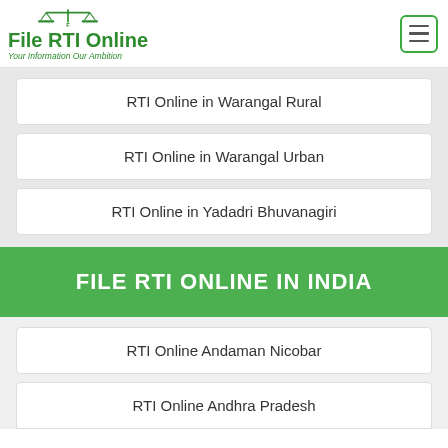File RTI Online - Your Information Our Ambition
RTI Online in Warangal Rural
RTI Online in Warangal Urban
RTI Online in Yadadri Bhuvanagiri
FILE RTI ONLINE IN INDIA
RTI Online Andaman Nicobar
RTI Online Andhra Pradesh